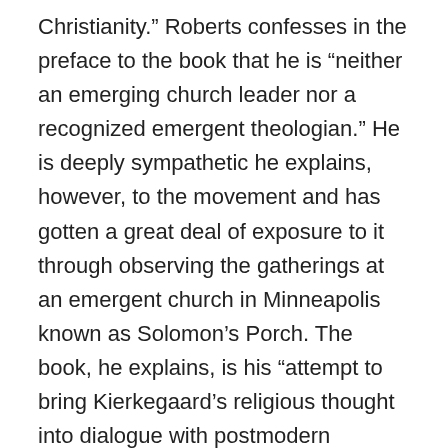Christianity.” Roberts confesses in the preface to the book that he is “neither an emerging church leader nor a recognized emergent theologian.” He is deeply sympathetic he explains, however, to the movement and has gotten a great deal of exposure to it through observing the gatherings at an emergent church in Minneapolis known as Solomon’s Porch. The book, he explains, is his “attempt to bring Kierkegaard’s religious thought into dialogue with postmodern expressions of Christianity (i.e., the emergent, or emerging church).”

I was sorely tempted to attend the session